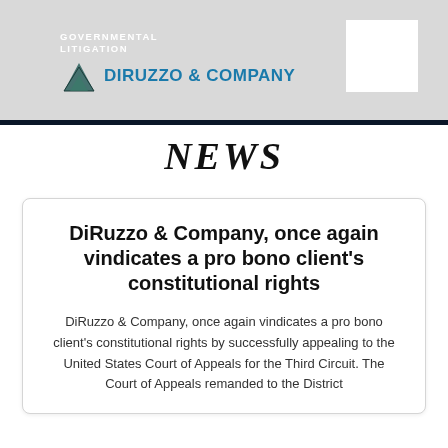GOVERNMENTAL LITIGATION — DiRuzzo & Company
NEWS
DiRuzzo & Company, once again vindicates a pro bono client's constitutional rights
DiRuzzo & Company, once again vindicates a pro bono client's constitutional rights by successfully appealing to the United States Court of Appeals for the Third Circuit. The Court of Appeals remanded to the District